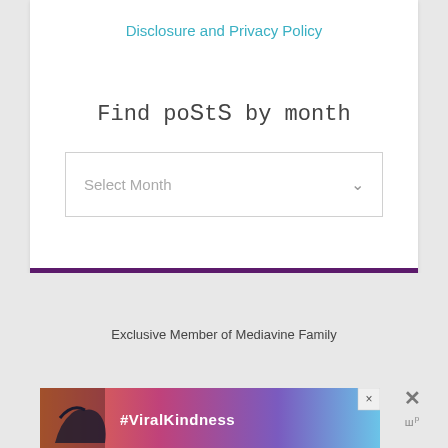Disclosure and Privacy Policy
Find poSts by month
Select Month
Exclusive Member of Mediavine Family
[Figure (screenshot): Advertisement banner showing hands making a heart shape silhouette against a colorful sunset sky, with text #ViralKindness]